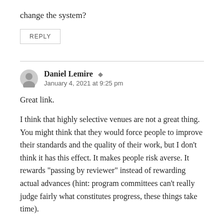change the system?
REPLY
Daniel Lemire ★
January 4, 2021 at 9:25 pm
Great link.
I think that highly selective venues are not a great thing. You might think that they would force people to improve their standards and the quality of their work, but I don’t think it has this effect. It makes people risk averse. It rewards “passing by reviewer” instead of rewarding actual advances (hint: program committees can’t really judge fairly what constitutes progress, these things take time).